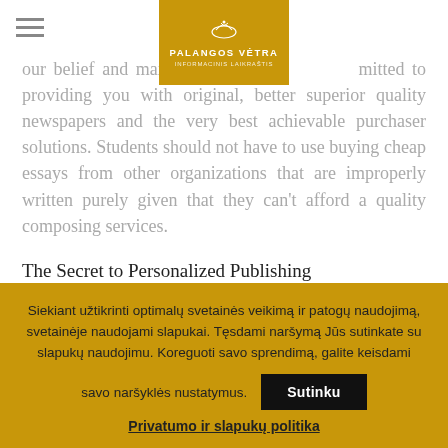[Figure (logo): Palangos Vėtra logo on gold/yellow background with bird icon and text]
Business crafting is required to react. Top quality is our belief and main priority, so we are committed to providing you with original, better superior quality newspapers and the very best achievable purchaser solutions. Students should not have to use buying cheap essays from other organizations that are improperly written purely given that they can't afford a quality composing services.
The Secret to Personalized Publishing
It's really hard to be a content advertising professional if you happen to don't understand the critical popular features of
Siekiant užtikrinti optimalų svetainės veikimą ir patogų naudojimą, svetainėje naudojami slapukai. Tęsdami naršymą Jūs sutinkate su slapukų naudojimu. Koreguoti savo sprendimą, galite keisdami savo naršyklės nustatymus.
Sutinku
Privatumo ir slapukų politika